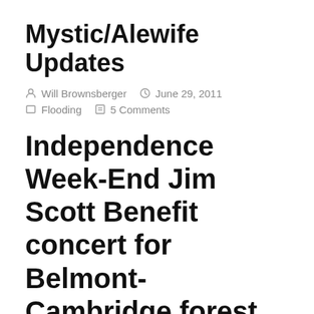Mystic/Alewife Updates
Will Brownsberger   June 29, 2011   Flooding   5 Comments
Independence Week-End Jim Scott Benefit concert for Belmont-Cambridge forest
EllenMass   June 11, 2011   Silver Maple Forest
City of Cambridge calls for